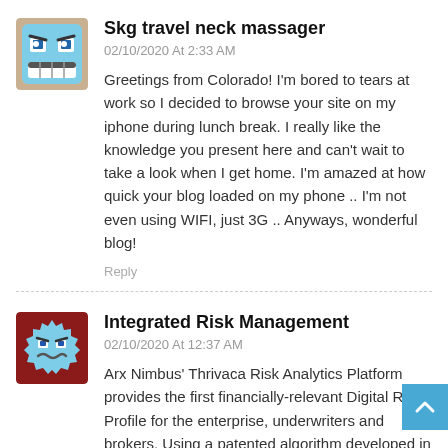Skg travel neck massager
02/10/2020 At 2:33 AM
Greetings from Colorado! I'm bored to tears at work so I decided to browse your site on my iphone during lunch break. I really like the knowledge you present here and can't wait to take a look when I get home. I'm amazed at how quick your blog loaded on my phone .. I'm not even using WIFI, just 3G .. Anyways, wonderful blog!
Reply
Integrated Risk Management
02/10/2020 At 12:37 AM
Arx Nimbus' Thrivaca Risk Analytics Platform provides the first financially-relevant Digital Risk Profile for the enterprise, underwriters and brokers. Using a patented algorithm developed in collaboration with leading universities, the DoD and federal regulators, Thrivaca consolidates industry historical analysis, your latest analyses and assessments, proprietary vulnerability